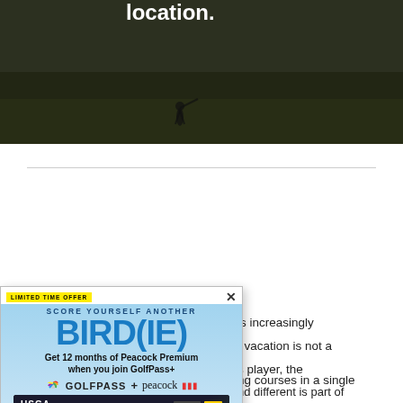[Figure (photo): Dark outdoor photo of a golf course with text 'location.' visible at top in white bold font and a golfer silhouette]
is increasingly f vacation is not a s player, the nd different is part of n appreciation.
ng courses in a single
[Figure (infographic): GolfPass + Peacock advertisement overlay. LIMITED TIME OFFER banner. Score yourself another BIRD(IE). Get 12 months of Peacock Premium when you join GolfPass+. NBC GolfPass + peacock logos. TV screenshot showing USGA content. JOIN NOW button in orange. Fine print: $4.99/mo w/o tax. Eligibility restrictions and terms apply.]